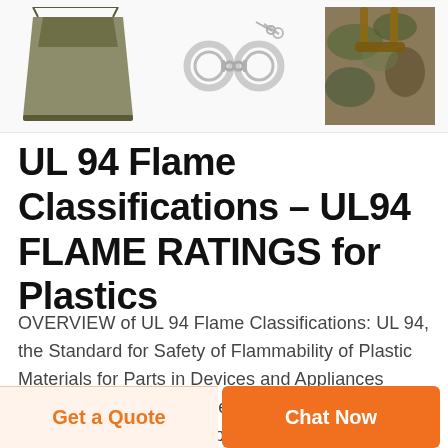[Figure (photo): Three product images side by side: an olive/khaki cloth bag on the left, handcuffs with keys in the center, and a camouflage tactical bag on the right (partially cropped).]
UL 94 Flame Classifications – UL94 FLAME RATINGS for Plastics
OVERVIEW of UL 94 Flame Classifications: UL 94, the Standard for Safety of Flammability of Plastic Materials for Parts in Devices and Appliances testing There are two types of pre-selection test programs conducted on plastic materials to measure flammability characteristics. The first determines the material's tendency either to